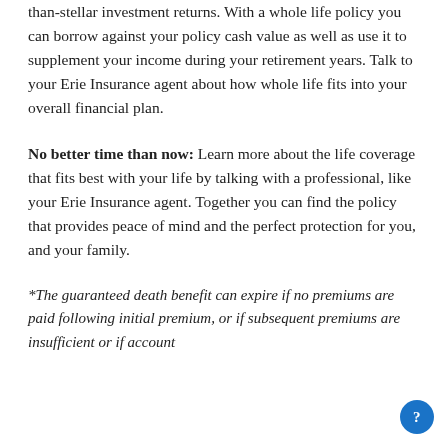than-stellar investment returns. With a whole life policy you can borrow against your policy cash value as well as use it to supplement your income during your retirement years. Talk to your Erie Insurance agent about how whole life fits into your overall financial plan.
No better time than now: Learn more about the life coverage that fits best with your life by talking with a professional, like your Erie Insurance agent. Together you can find the policy that provides peace of mind and the perfect protection for you, and your family.
*The guaranteed death benefit can expire if no premiums are paid following initial premium, or if subsequent premiums are insufficient or if account